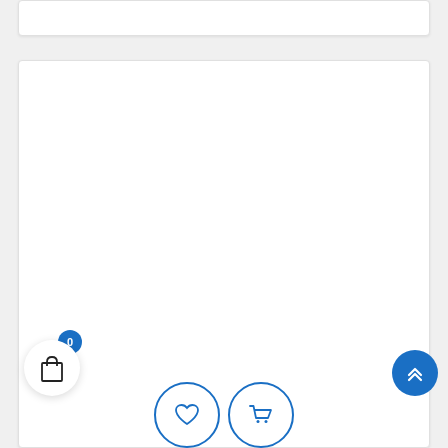[Figure (screenshot): E-commerce UI screenshot showing a top white card panel, a large white main content card, a shopping bag button with badge showing 0, a scroll-to-top button, and two circular action buttons (heart/wishlist and shopping cart) at the bottom center]
[Figure (screenshot): Shopping bag icon button with circular badge showing 0]
[Figure (screenshot): Scroll-to-top circular button with upward chevron icon in blue]
[Figure (screenshot): Two circular outline buttons at the bottom: heart/wishlist icon and shopping cart icon]